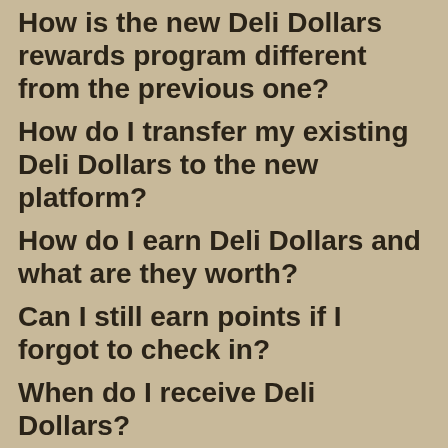How is the new Deli Dollars rewards program different from the previous one?
How do I transfer my existing Deli Dollars to the new platform?
How do I earn Deli Dollars and what are they worth?
Can I still earn points if I forgot to check in?
When do I receive Deli Dollars?
How do I know if I successfully checked in to get my Deli Dollars?
I checked in with the card at the…